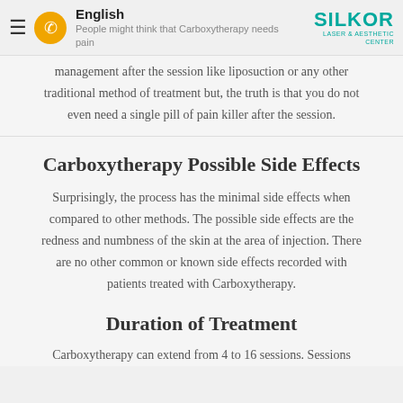Carboxytherapy Pain Management | English | SILKOR LASER & AESTHETIC CENTER
People might think that Carboxytherapy needs pain management after the session like liposuction or any other traditional method of treatment but, the truth is that you do not even need a single pill of pain killer after the session.
Carboxytherapy Possible Side Effects
Surprisingly, the process has the minimal side effects when compared to other methods. The possible side effects are the redness and numbness of the skin at the area of injection. There are no other common or known side effects recorded with patients treated with Carboxytherapy.
Duration of Treatment
Carboxytherapy can extend from 4 to 16 sessions. Sessions